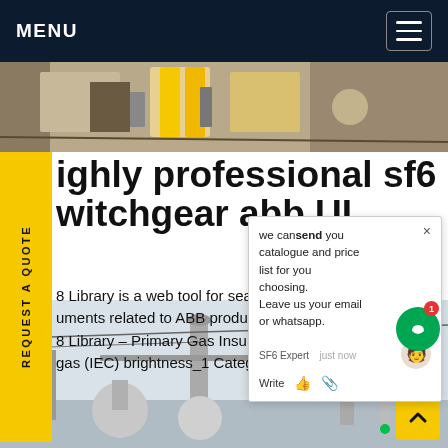MENU
[Figure (photo): Top banner photo showing industrial/electrical equipment with yellow components and cables on a sandy surface]
REQUEST A QUOTE
ighly professional sf6
witchgear abb UI
8 Library is a web tool for searchi...
uments related to ABB products...es.
8 Library – Primary Gas Insula... ZX1.2
gas (IEC) brightness_1 Category...Get price
[Figure (screenshot): Chat popup overlay with text: 'we can send you catalogue and price list for you choosing. Leave us your email or whatsapp.' with SF6 Expert avatar and just now timestamp, Write/like/attachment icons]
[Figure (photo): Bottom photo showing outdoor high-voltage substation with large insulators, transformers, and electrical infrastructure against a grey sky]